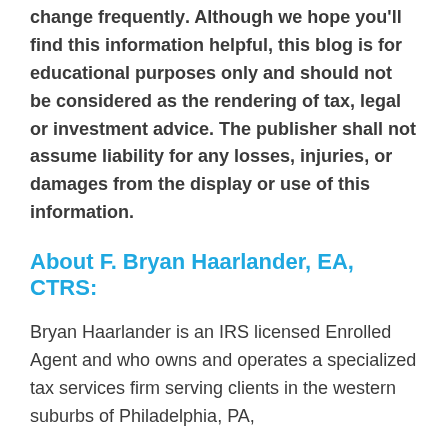change frequently. Although we hope you'll find this information helpful, this blog is for educational purposes only and should not be considered as the rendering of tax, legal or investment advice. The publisher shall not assume liability for any losses, injuries, or damages from the display or use of this information.
About F. Bryan Haarlander, EA, CTRS:
Bryan Haarlander is an IRS licensed Enrolled Agent and who owns and operates a specialized tax services firm serving clients in the western suburbs of Philadelphia, PA,